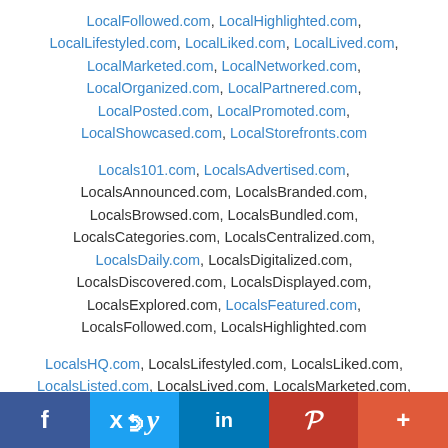LocalFollowed.com, LocalHighlighted.com, LocalLifestyled.com, LocalLiked.com, LocalLived.com, LocalMarketed.com, LocalNetworked.com, LocalOrganized.com, LocalPartnered.com, LocalPosted.com, LocalPromoted.com, LocalShowcased.com, LocalStorefronts.com
Locals101.com, LocalsAdvertised.com, LocalsAnnounced.com, LocalsBranded.com, LocalsBrowsed.com, LocalsBundled.com, LocalsCategories.com, LocalsCentralized.com, LocalsDaily.com, LocalsDigitalized.com, LocalsDiscovered.com, LocalsDisplayed.com, LocalsExplored.com, LocalsFeatured.com, LocalsFollowed.com, LocalsHighlighted.com
LocalsHQ.com, LocalsLifestyled.com, LocalsLiked.com, LocalsListed.com, LocalsLived.com, LocalsMarketed.com,
f  y  in  P  +